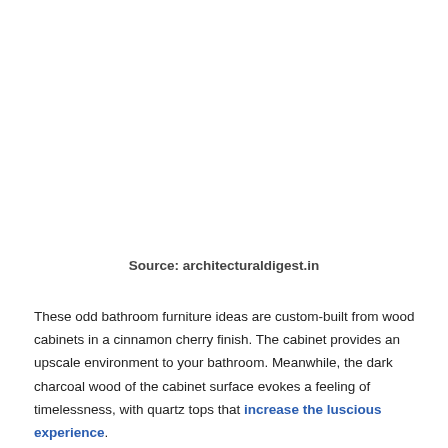Source: architecturaldigest.in
These odd bathroom furniture ideas are custom-built from wood cabinets in a cinnamon cherry finish. The cabinet provides an upscale environment to your bathroom. Meanwhile, the dark charcoal wood of the cabinet surface evokes a feeling of timelessness, with quartz tops that increase the luscious experience.